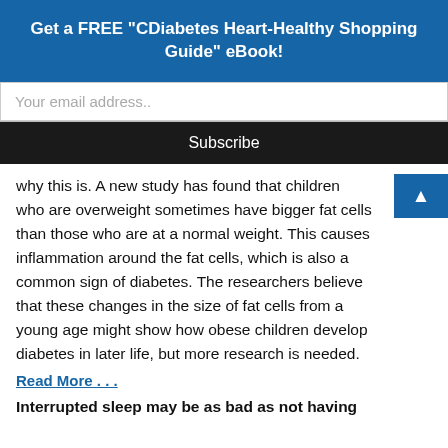Get a FREE “CDiabetes Heart-Healthy Shopping Guide” eBook!
Your email address..
Subscribe
why this is. A new study has found that children who are overweight sometimes have bigger fat cells than those who are at a normal weight. This causes inflammation around the fat cells, which is also a common sign of diabetes. The researchers believe that these changes in the size of fat cells from a young age might show how obese children develop diabetes in later life, but more research is needed.
Read More . . .
Interrupted sleep may be as bad as not having